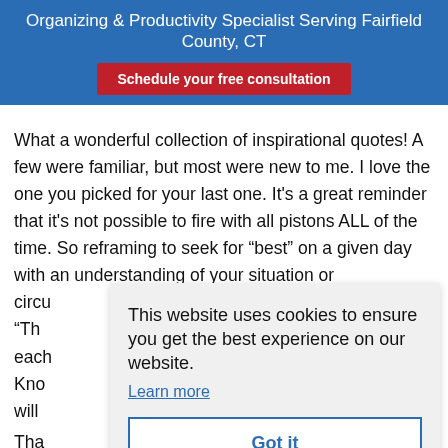Organizing & Productivity Specialist Serving Fairfield County, CT
Schedule your free consultation
What a wonderful collection of inspirational quotes! A few were familiar, but most were new to me. I love the one you picked for your last one. It's a great reminder that it's not possible to fire with all pistons ALL of the time. So reframing to seek for “best” on a given day with an understanding of your situation or circu...
This website uses cookies to ensure you get the best experience on our website.
Learn more
Got it
Tha...
Organized Month, Loved this series!